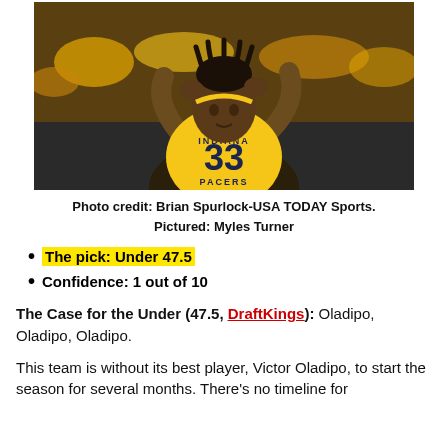[Figure (photo): Indiana Pacers player #33 (Myles Turner) in yellow jersey with hands on head]
Photo credit: Brian Spurlock-USA TODAY Sports.
Pictured: Myles Turner
The pick: Under 47.5
Confidence: 1 out of 10
The Case for the Under (47.5, DraftKings): Oladipo, Oladipo, Oladipo.
This team is without its best player, Victor Oladipo, to start the season for several months. There's no timeline for